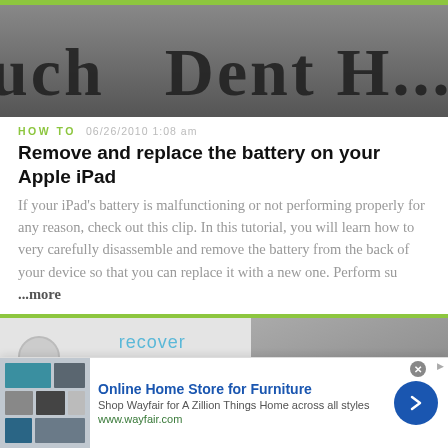[Figure (photo): Close-up of printed text on paper, blurred background, showing letters including 'uch', 'Dent', 'desc' in serif font]
HOW TO   06/26/2010 1:08 am
Remove and replace the battery on your Apple iPad
If your iPad's battery is malfunctioning or not performing properly for any reason, check out this clip. In this tutorial, you will learn how to very carefully disassemble and remove the battery from the back of your device so that you can replace it with a new one. Perform su ...more
[Figure (screenshot): Screenshot showing an iOS device with a 'recover' text overlay and a home button visible, with a rocky texture on the right side]
HOW TO   06/23/2014 5:54 pm
Recover Deleted Photos & Videos from Your iPhone or...
[Figure (other): Advertisement banner for Wayfair Online Home Store for Furniture with furniture shelf image and blue arrow button]